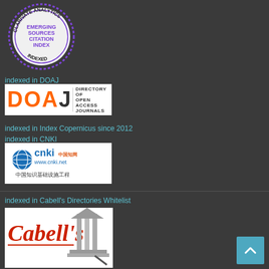[Figure (logo): Clarivate Analytics Emerging Sources Citation Index badge - circular badge with purple border and text]
indexed in DOAJ
[Figure (logo): DOAJ - Directory of Open Access Journals logo]
indexed in Index Copernicus since 2012
indexed in CNKI
[Figure (logo): CNKI Chinese Knowledge Network logo with www.cnki.net]
indexed in Cabell's Directories Whitelist
[Figure (logo): Cabell's Directories logo (partially visible)]